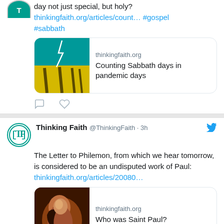day not just special, but holy? thinkingfaith.org/articles/count… #gospel #sabbath
[Figure (screenshot): Link preview card showing thinkingfaith.org article 'Counting Sabbath days in pandemic days' with an image of lightning over a yellow field]
[Figure (other): Reply and like action icons]
Thinking Faith @ThinkingFaith · 3h
The Letter to Philemon, from which we hear tomorrow, is considered to be an undisputed work of Paul: thinkingfaith.org/articles/20080…
[Figure (screenshot): Link preview card showing thinkingfaith.org article 'Who was Saint Paul?' with a painting of Saint Paul]
[Figure (other): Reply and like action icons (partially cropped)]